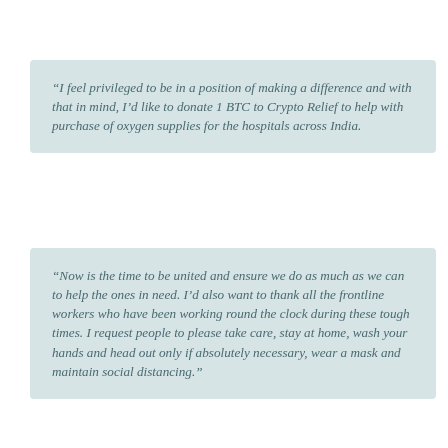“I feel privileged to be in a position of making a difference and with that in mind, I’d like to donate 1 BTC to Crypto Relief to help with purchase of oxygen supplies for the hospitals across India.
“Now is the time to be united and ensure we do as much as we can to help the ones in need. I’d also want to thank all the frontline workers who have been working round the clock during these tough times. I request people to please take care, stay at home, wash your hands and head out only if absolutely necessary, wear a mask and maintain social distancing.”